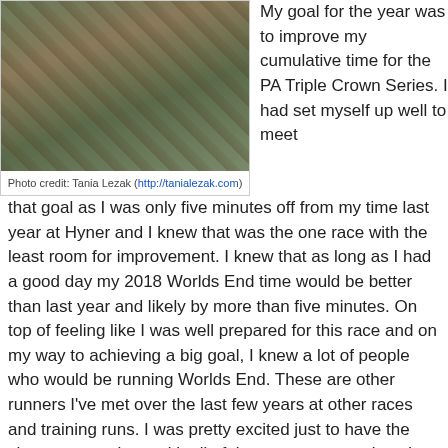[Figure (photo): A trail runner on a steep rocky hillside covered with moss and fallen leaves, among trees, photographed during a trail race]
Photo credit:  Tania Lezak (http://tanialezak.com)
My goal for the year was to improve my cumulative time for the PA Triple Crown Series. I had set myself up well to meet that goal as I was only five minutes off from my time last year at Hyner and I knew that was the one race with the least room for improvement. I knew that as long as I had a good day my 2018 Worlds End time would be better than last year and likely by more than five minutes. On top of feeling like I was well prepared for this race and on my way to achieving a big goal, I knew a lot of people who would be running Worlds End. These are other runners I've met over the last few years at other races and training runs. I was pretty excited just to have the chance to catch up with all of them at one race since I only see the majority of them a few times a year.
I made the sixish hour drive from South Jersey to Worlds End State Park in the PA Wilds on Friday, cursing the Philadelphia traffic just before the midway point of the trip. I